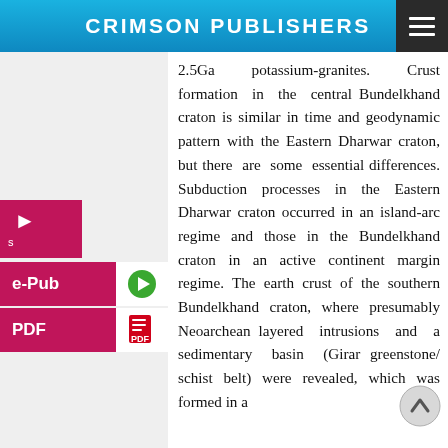CRIMSON PUBLISHERS
2.5Ga potassium-granites. Crust formation in the central Bundelkhand craton is similar in time and geodynamic pattern with the Eastern Dharwar craton, but there are some essential differences. Subduction processes in the Eastern Dharwar craton occurred in an island-arc regime and those in the Bundelkhand craton in an active continent margin regime. The earth crust of the southern Bundelkhand craton, where presumably Neoarchean layered intrusions and a sedimentary basin (Girar greenstone/ schist belt) were revealed, which was formed in a